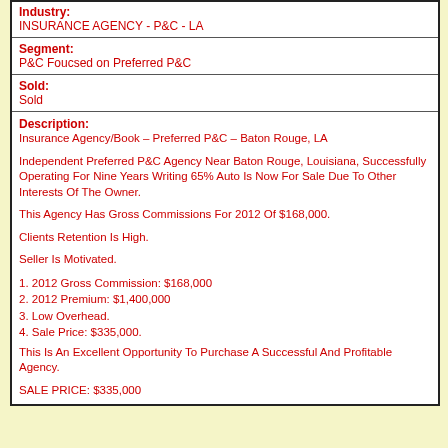| Industry: | INSURANCE AGENCY - P&C - LA |
| Segment: | P&C Foucsed on Preferred P&C |
| Sold: | Sold |
| Description: | Insurance Agency/Book – Preferred P&C – Baton Rouge, LA

Independent Preferred P&C Agency Near Baton Rouge, Louisiana, Successfully Operating For Nine Years Writing 65% Auto Is Now For Sale Due To Other Interests Of The Owner.

This Agency Has Gross Commissions For 2012 Of $168,000.

Clients Retention Is High.

Seller Is Motivated.

1. 2012 Gross Commission: $168,000
2. 2012 Premium: $1,400,000
3. Low Overhead.
4. Sale Price: $335,000.

This Is An Excellent Opportunity To Purchase A Successful And Profitable Agency.

SALE PRICE: $335,000 |